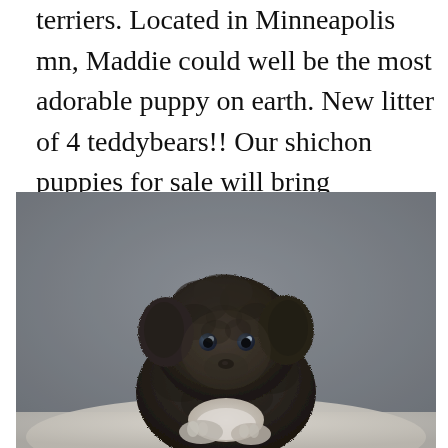terriers. Located in Minneapolis mn, Maddie could well be the most adorable puppy on earth. New litter of 4 teddybears!! Our shichon puppies for sale will bring companionship and joy into your home!
[Figure (photo): A small dark curly-haired shichon (teddy bear) puppy sitting on a white surface against a grey background, looking at the camera with dark eyes and a white patch on its chest.]